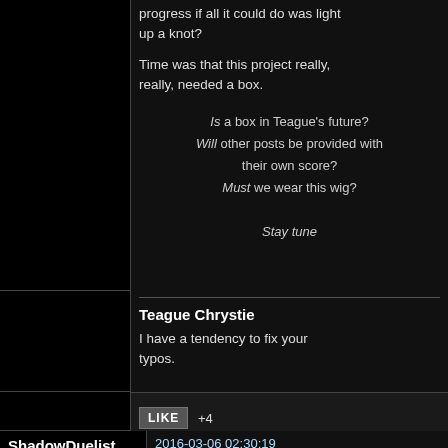progress if all it could do was light up a knot?
Time was that this project really, really, needed a box.
Is a box in Teague's future? Will other posts be provided with their own score? Must we wear this wig?
Stay tuned.
Teague Chrystie
I have a tendency to fix your typos.
LIKE +4
ShadowDuelist
2016-03-06 02:30:19
Nice write-up. The way this